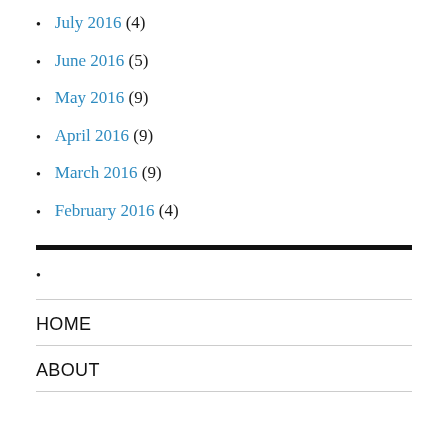July 2016 (4)
June 2016 (5)
May 2016 (9)
April 2016 (9)
March 2016 (9)
February 2016 (4)
HOME
ABOUT